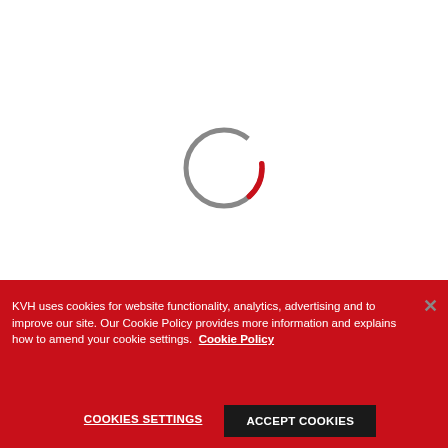[Figure (other): Loading spinner: a circular ring mostly gray with a red arc at the top, indicating a loading/waiting state]
KVH uses cookies for website functionality, analytics, advertising and to improve our site. Our Cookie Policy provides more information and explains how to amend your cookie settings.  Cookie Policy
Cookies Settings
Accept Cookies